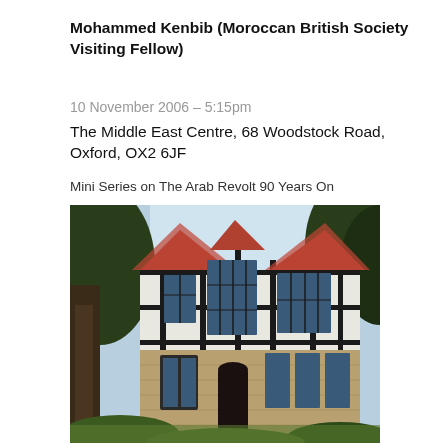Mohammed Kenbib (Moroccan British Society Visiting Fellow)
10 November 2006 – 5:15pm
The Middle East Centre, 68 Woodstock Road, Oxford, OX2 6JF
Mini Series on The Arab Revolt 90 Years On
[Figure (photo): Exterior photograph of The Middle East Centre building at 68 Woodstock Road, Oxford — a Tudor revival style building with timber framing, red tiled roofs, and stone lower facade, surrounded by large trees.]